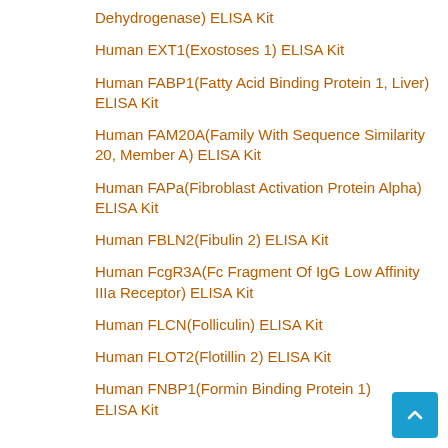Dehydrogenase) ELISA Kit
Human EXT1(Exostoses 1) ELISA Kit
Human FABP1(Fatty Acid Binding Protein 1, Liver) ELISA Kit
Human FAM20A(Family With Sequence Similarity 20, Member A) ELISA Kit
Human FAPa(Fibroblast Activation Protein Alpha) ELISA Kit
Human FBLN2(Fibulin 2) ELISA Kit
Human FcgR3A(Fc Fragment Of IgG Low Affinity IIIa Receptor) ELISA Kit
Human FLCN(Folliculin) ELISA Kit
Human FLOT2(Flotillin 2) ELISA Kit
Human FNBP1(Formin Binding Protein 1) ELISA Kit